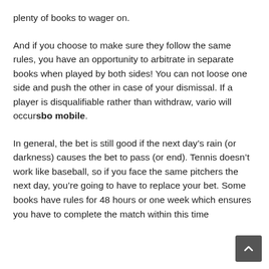plenty of books to wager on.
And if you choose to make sure they follow the same rules, you have an opportunity to arbitrate in separate books when played by both sides! You can not loose one side and push the other in case of your dismissal. If a player is disqualifiable rather than withdraw, vario will occursbo mobile.
In general, the bet is still good if the next day’s rain (or darkness) causes the bet to pass (or end). Tennis doesn’t work like baseball, so if you face the same pitchers the next day, you’re going to have to replace your bet. Some books have rules for 48 hours or one week which ensures you have to complete the match within this time